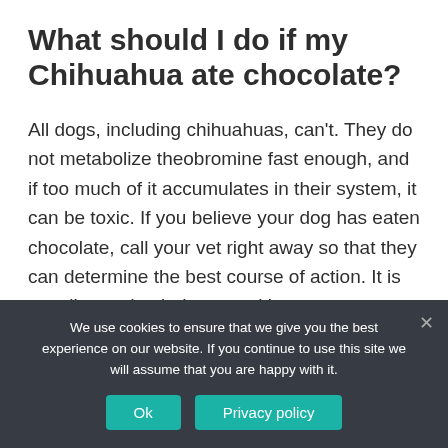What should I do if my Chihuahua ate chocolate?
All dogs, including chihuahuas, can't. They do not metabolize theobromine fast enough, and if too much of it accumulates in their system, it can be toxic. If you believe your dog has eaten chocolate, call your vet right away so that they can determine the best course of action. It is usually good to induce vomiting.
We use cookies to ensure that we give you the best experience on our website. If you continue to use this site we will assume that you are happy with it.